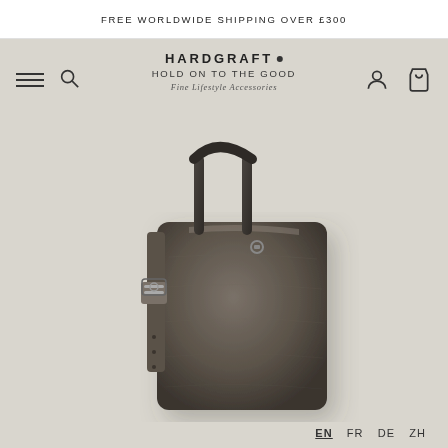FREE WORLDWIDE SHIPPING OVER £300
HARDGRAFT ® HOLD ON TO THE GOOD Fine Lifestyle Accessories
[Figure (photo): A dark grey/brown leather tote bag with top handles and a side strap with buckle detail, photographed on a light grey background.]
EN  FR  DE  ZH